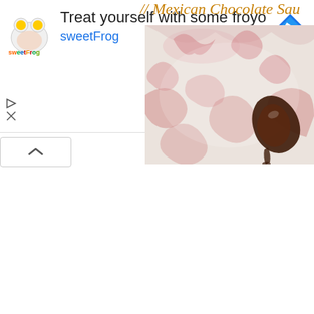[Figure (screenshot): sweetFrog advertisement banner: logo on left, 'Treat yourself with some froyo' headline, 'sweetFrog' subtext in blue, navigation arrow icon on right]
// Mexican Chocolate Sau...
[Figure (photo): Close-up photo of a Mexican chocolate sauce on a white plate with pink floral damask pattern background]